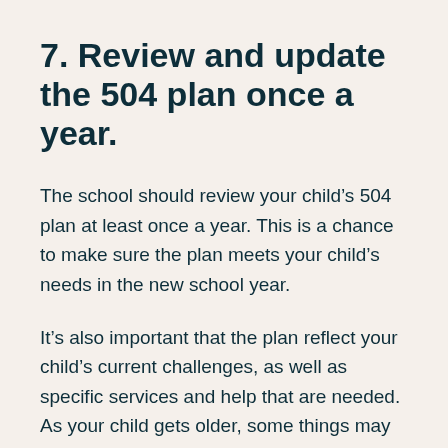7. Review and update the 504 plan once a year.
The school should review your child’s 504 plan at least once a year. This is a chance to make sure the plan meets your child’s needs in the new school year.
It’s also important that the plan reflect your child’s current challenges, as well as specific services and help that are needed. As your child gets older, some things may fall away and others may be added as the academic load changes. Don’t hesitate to ask the school about an annual 504 meeting if the school doesn’t contact you first.